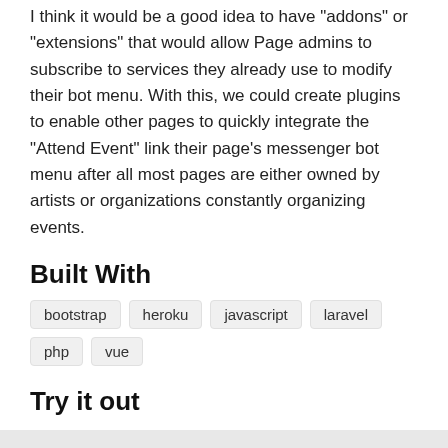I think it would be a good idea to have "addons" or "extensions" that would allow Page admins to subscribe to services they already use to modify their bot menu. With this, we could create plugins to enable other pages to quickly integrate the "Attend Event" link their page's messenger bot menu after all most pages are either owned by artists or organizations constantly organizing events.
Built With
bootstrap
heroku
javascript
laravel
php
vue
Try it out
buudu.herokuapp.com
CREATED BY